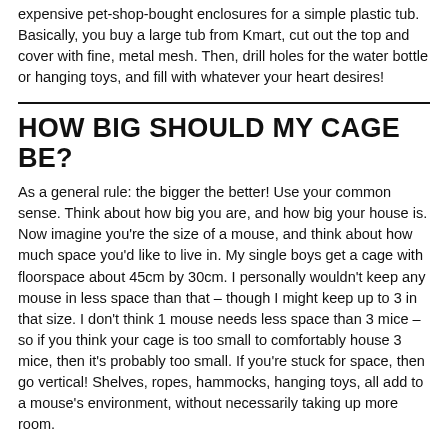expensive pet-shop-bought enclosures for a simple plastic tub. Basically, you buy a large tub from Kmart, cut out the top and cover with fine, metal mesh. Then, drill holes for the water bottle or hanging toys, and fill with whatever your heart desires!
HOW BIG SHOULD MY CAGE BE?
As a general rule: the bigger the better! Use your common sense. Think about how big you are, and how big your house is. Now imagine you're the size of a mouse, and think about how much space you'd like to live in. My single boys get a cage with floorspace about 45cm by 30cm. I personally wouldn't keep any mouse in less space than that – though I might keep up to 3 in that size. I don't think 1 mouse needs less space than 3 mice – so if you think your cage is too small to comfortably house 3 mice, then it's probably too small. If you're stuck for space, then go vertical! Shelves, ropes, hammocks, hanging toys, all add to a mouse's environment, without necessarily taking up more room.